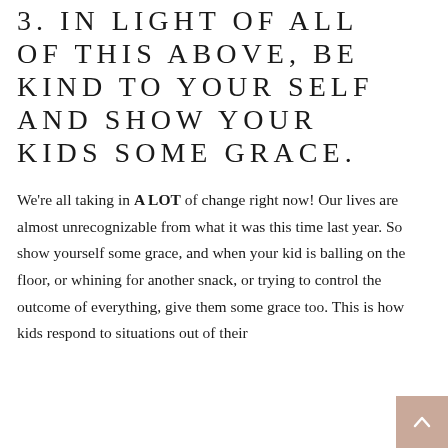3. IN LIGHT OF ALL OF THIS ABOVE, BE KIND TO YOUR SELF AND SHOW YOUR KIDS SOME GRACE.
We're all taking in A LOT of change right now! Our lives are almost unrecognizable from what it was this time last year. So show yourself some grace, and when your kid is balling on the floor, or whining for another snack, or trying to control the outcome of everything, give them some grace too. This is how kids respond to situations out of their